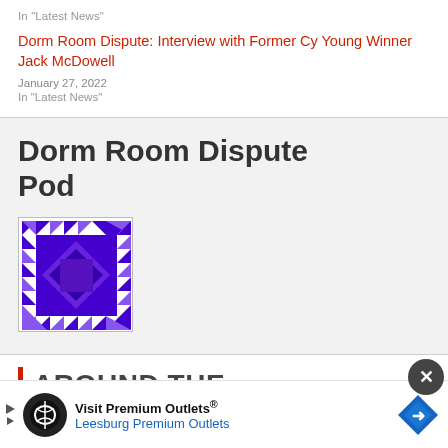In "Latest News"
Dorm Room Dispute: Interview with Former Cy Young Winner Jack McDowell
January 27, 2022
In "Latest News"
Dorm Room Dispute Pod
[Figure (logo): Dorm Room Dispute Pod podcast logo - purple geometric square with triangular pattern border on white background]
AROUND THE
Visit Premium Outlets® Leesburg Premium Outlets